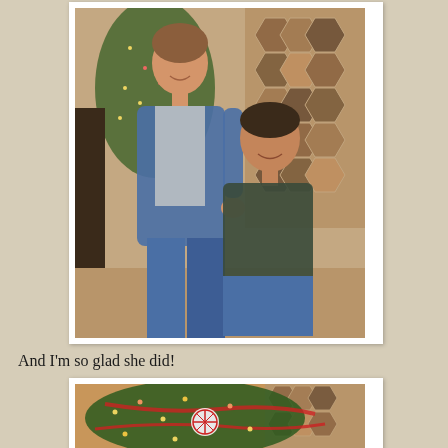[Figure (photo): Two women standing and sitting together smiling in front of a lit Christmas tree and a patchwork quilt on the wall. The taller woman on the left wears a denim jacket; the woman on the right wears a dark plaid shirt. Both wear jeans.]
And I'm so glad she did!
[Figure (photo): Close-up of a decorated Christmas tree with lights, red ribbons, and ornaments including a snowflake ornament in the center. A patchwork quilt is visible in the background.]